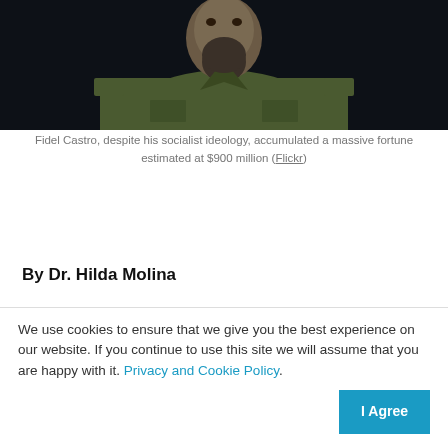[Figure (photo): A man with a beard wearing an olive green military jacket, photographed against a dark background. The image is cropped showing the upper body.]
Fidel Castro, despite his socialist ideology, accumulated a massive fortune estimated at $900 million (Flickr)
Español
By Dr. Hilda Molina
Related Articles
[Figure (photo): Small thumbnail image for a related article]
The new socialist supremacisms: a maoist
We use cookies to ensure that we give you the best experience on our website. If you continue to use this site we will assume that you are happy with it. Privacy and Cookie Policy.